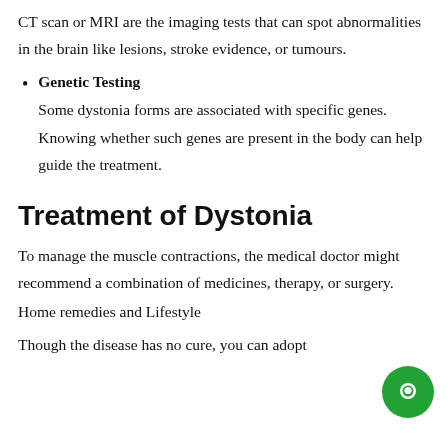CT scan or MRI are the imaging tests that can spot abnormalities in the brain like lesions, stroke evidence, or tumours.
Genetic Testing
Some dystonia forms are associated with specific genes. Knowing whether such genes are present in the body can help guide the treatment.
Treatment of Dystonia
To manage the muscle contractions, the medical doctor might recommend a combination of medicines, therapy, or surgery.
Home remedies and Lifestyle
Though the disease has no cure, you can adopt